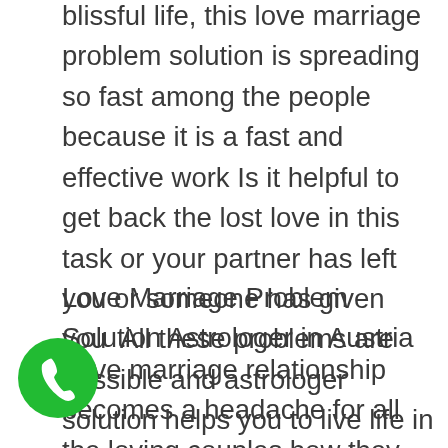blissful life, this love marriage problem solution is spreading so fast among the people because it is a fast and effective work Is it helpful to get back the lost love in this task or your partner has left you or someone has given you  All these problems are possible and astrologer solution helps you to live life in your love. Our goal is to make people happy and make their life easy
Love Marriage Problem Solution Astrologer in Austria
Love marriage relationship becomes a headache for all the loving couples how they can solve such hard problems while solving the love marriage problem and get entangled in the difficulties that make that exact decision. Can't take it and lose your love but love marriage problem solution astrology is the solution for this. Love marriage problem solution astrology In which
[Figure (illustration): Green circular phone call button with white phone handset icon]